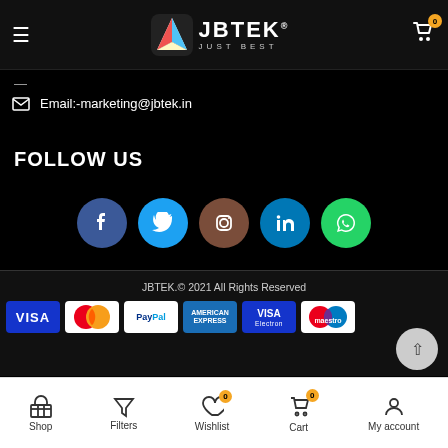[Figure (logo): JBTEK logo with rocket icon and tagline JUST BEST]
—
Email:-marketing@jbtek.in
FOLLOW US
[Figure (infographic): Social media icons row: Facebook, Twitter, Instagram, LinkedIn, WhatsApp]
JBTEK.© 2021 All Rights Reserved
[Figure (infographic): Payment method logos: VISA, MasterCard, PayPal, American Express, VISA Electron, Maestro]
Shop   Filters   Wishlist 0   Cart 0   My account